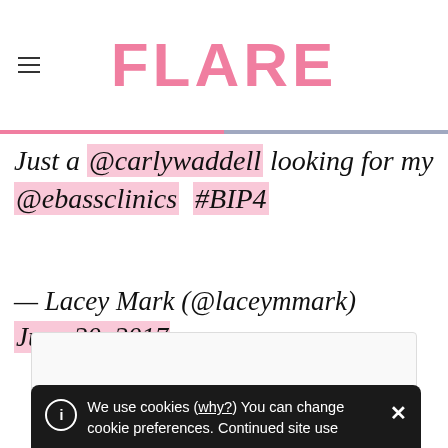FLARE
Just a @carlywaddell looking for my @ebassclinics #BIP4
— Lacey Mark (@laceymmark) June 20, 2017
[Figure (other): Embedded content box (tweet/media embed placeholder)]
We use cookies (why?) You can change cookie preferences. Continued site use